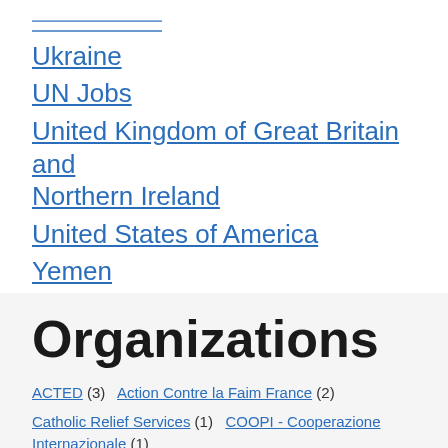Ukraine
UN Jobs
United Kingdom of Great Britain and Northern Ireland
United States of America
Yemen
Organizations
ACTED (3)  Action Contre la Faim France (2)
Catholic Relief Services (1)  COOPI - Cooperazione Internazionale (1)
Danish Refugee Council (4)  Ethiopian Red Cross Society (2)
European Management Solutions (1)  Freedom House (1)  GOAL (3)